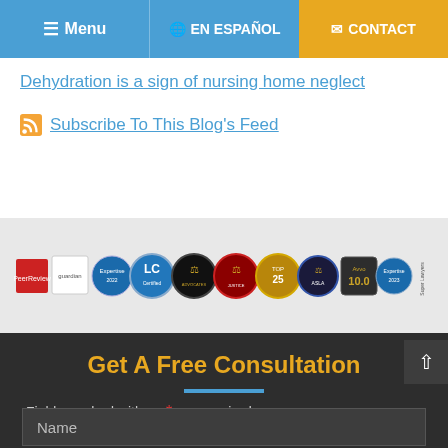Menu | EN ESPAÑOL | CONTACT
Dehydration is a sign of nursing home neglect
Subscribe To This Blog's Feed
[Figure (other): Row of legal award badges and certifications including LC Certified, ASLA, Top 25, Avvo 10.0, Super Lawyers, Expertise, and other legal recognition seals]
Get A Free Consultation
Fields marked with an * are required
Name